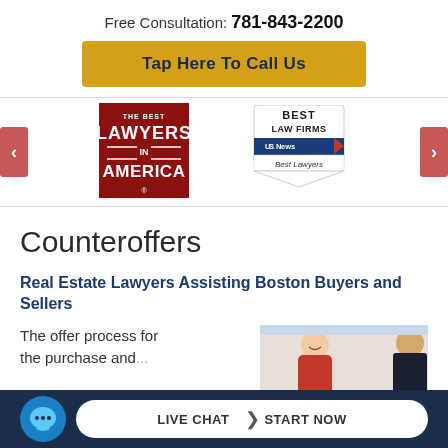Free Consultation: 781-843-2200
Tap Here To Call Us
[Figure (logo): The Best Lawyers in America badge - red rectangle with white text]
[Figure (logo): Best Law Firms US News & World Report Best Lawyers badge]
Counteroffers
Real Estate Lawyers Assisting Boston Buyers and Sellers
The offer process for the purchase and...
[Figure (photo): Photo of a woman in a red jacket smiling, with another person in a dark suit]
LIVE CHAT  START NOW